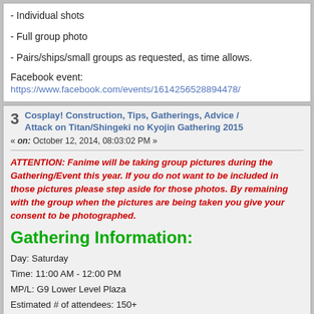- Individual shots
- Full group photo
- Pairs/ships/small groups as requested, as time allows.
Facebook event: https://www.facebook.com/events/1614256528894478/
3 Cosplay! Construction, Tips, Gatherings, Advice / Attack on Titan/Shingeki no Kyojin Gathering 2015
« on: October 12, 2014, 08:03:02 PM »
ATTENTION: Fanime will be taking group pictures during the Gathering/Event this year. If you do not want to be included in those pictures please step aside for those photos. By remaining with the group when the pictures are being taken you give your consent to be photographed.
Gathering Information:
Day: Saturday
Time: 11:00 AM - 12:00 PM
MP/L: G9 Lower Level Plaza
Estimated # of attendees: 150+
List of Attending:
Eren Jaeger: Kurona
Mikasa Ackerman: necroneko's sister, MikasaBewdy
Armin Arlert: Timasoarus
Bertholdt Fubar: Tickson